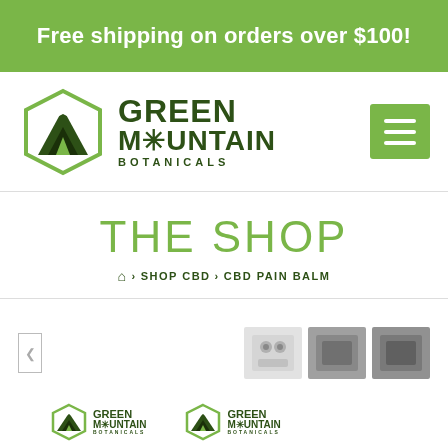Free shipping on orders over $100!
[Figure (logo): Green Mountain Botanicals logo with hexagonal mountain graphic and menu button]
THE SHOP
🏠 › SHOP CBD › CBD PAIN BALM
[Figure (screenshot): Product view controls: left arrow, and three thumbnail images on the right]
[Figure (logo): Two Green Mountain Botanicals mini logos at the bottom]